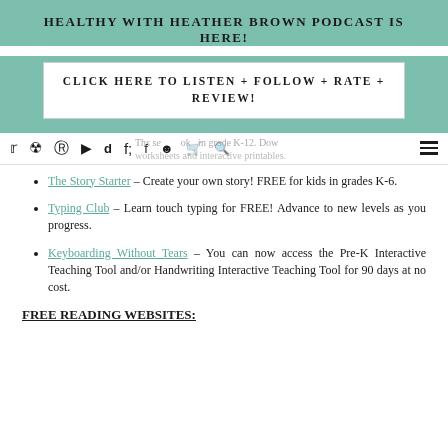HEALTHY WITH HEATHER BROWN PODCAST IS HERE!
CLICK HERE TO LISTEN + FOLLOW + RATE + REVIEW!
The Story Starter – Create your own story! FREE for kids in grades K-6.
Typing Club – Learn touch typing for FREE! Advance to new levels as you progress.
Keyboarding Without Tears – You can now access the Pre-K Interactive Teaching Tool and/or Handwriting Interactive Teaching Tool for 90 days at no cost.
FREE READING WEBSITES: